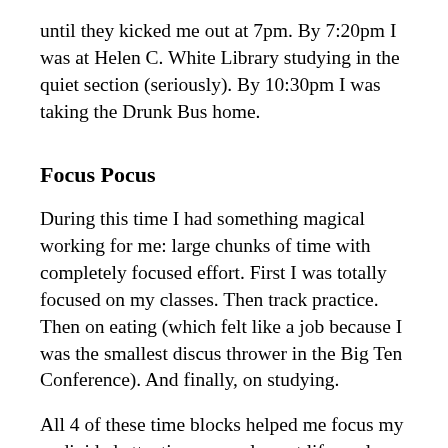until they kicked me out at 7pm. By 7:20pm I was at Helen C. White Library studying in the quiet section (seriously). By 10:30pm I was taking the Drunk Bus home.
Focus Pocus
During this time I had something magical working for me: large chunks of time with completely focused effort. First I was totally focused on my classes. Then track practice. Then on eating (which felt like a job because I was the smallest discus thrower in the Big Ten Conference). And finally, on studying.
All 4 of these time blocks helped me focus my undivided attention on my largest life goals. Plus, there were no smart phones back then to distract me